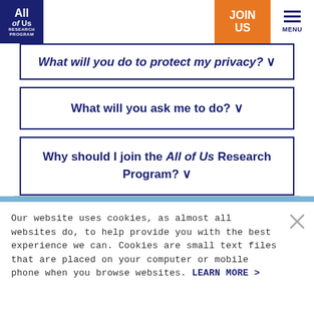All of Us Research Program — JOIN US MENU
What will you do to protect my privacy? ▾
What will you ask me to do? ▾
Why should I join the All of Us Research Program? ▾
Our website uses cookies, as almost all websites do, to help provide you with the best experience we can. Cookies are small text files that are placed on your computer or mobile phone when you browse websites. LEARN MORE >